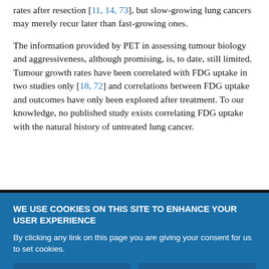rates after resection [11, 14, 73], but slow-growing lung cancers may merely recur later than fast-growing ones.
The information provided by PET in assessing tumour biology and aggressiveness, although promising, is, to date, still limited. Tumour growth rates have been correlated with FDG uptake in two studies only [18, 72] and correlations between FDG uptake and outcomes have only been explored after treatment. To our knowledge, no published study exists correlating FDG uptake with the natural history of untreated lung cancer.
WE USE COOKIES ON THIS SITE TO ENHANCE YOUR USER EXPERIENCE
By clicking any link on this page you are giving your consent for us to set cookies.
OK, I agree
No, give me more info